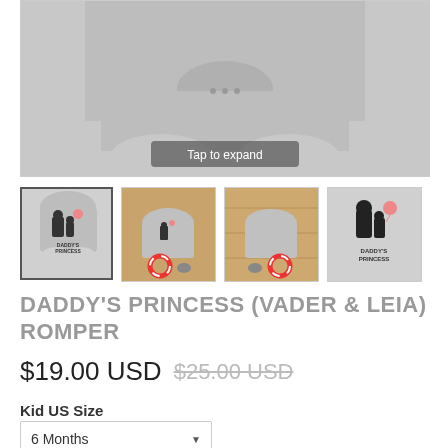[Figure (photo): Close-up photo of a gray baby onesie/romper with a Darth Vader and Princess Leia silhouette graphic. A 'Tap to expand' overlay label is visible at the bottom center of the image.]
[Figure (photo): Thumbnail 1: Front view of gray baby onesie with Vader & Leia 'Daddy's Princess' graphic on white background.]
[Figure (photo): Thumbnail 2: Gray baby onesie laid flat on wooden surface with decorative items (lifesaver ring, pebble).]
[Figure (photo): Thumbnail 3: Gray baby onesie laid flat on wooden surface with decorative lifesaver ring, back view or plain view.]
[Figure (photo): Thumbnail 4: Close-up of gray onesie showing Darth Vader and Leia silhouette with pink balloon and 'Daddy's Princess' text.]
DADDY'S PRINCESS (VADER & LEIA) ROMPER
$19.00 USD $25.00 USD
Kid US Size
6 Months